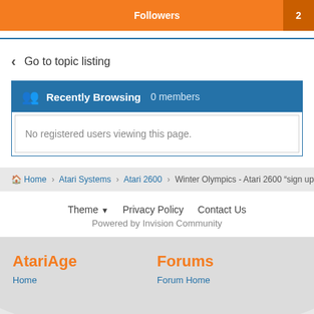Followers  2
Go to topic listing
Recently Browsing  0 members
No registered users viewing this page.
Home > Atari Systems > Atari 2600 > Winter Olympics - Atari 2600 "sign up" time
Theme ▾   Privacy Policy   Contact Us
Powered by Invision Community
AtariAge
Home
Forums
Forum Home